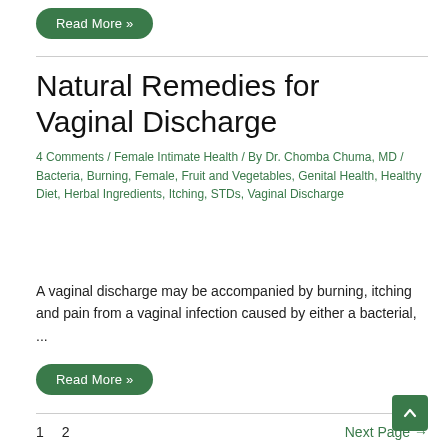Read More »
Natural Remedies for Vaginal Discharge
4 Comments / Female Intimate Health / By Dr. Chomba Chuma, MD / Bacteria, Burning, Female, Fruit and Vegetables, Genital Health, Healthy Diet, Herbal Ingredients, Itching, STDs, Vaginal Discharge
A vaginal discharge may be accompanied by burning, itching and pain from a vaginal infection caused by either a bacterial, ...
Read More »
1  2  Next Page →